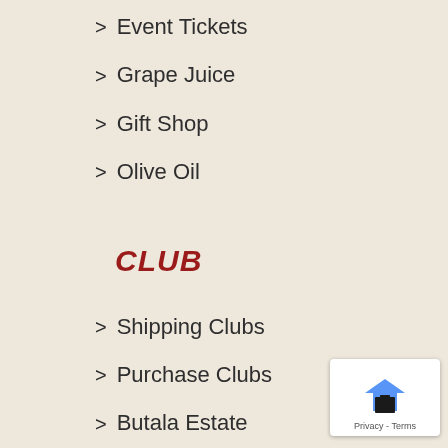> Event Tickets
> Grape Juice
> Gift Shop
> Olive Oil
CLUB
> Shipping Clubs
> Purchase Clubs
> Butala Estate
> Wine Club FAQ
EVENTS